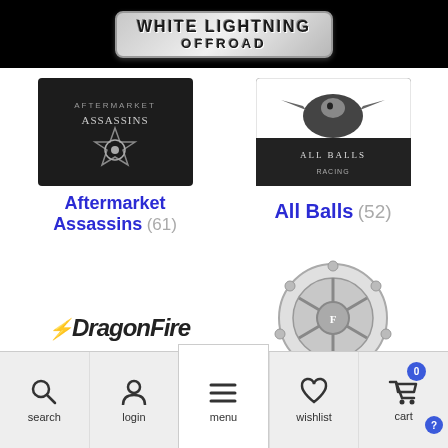WHITE LIGHTNING OFFROAD
[Figure (logo): Aftermarket Assassins brand logo - dark background with star/wheel graphic]
Aftermarket Assassins (61)
[Figure (logo): All Balls brand logo - white background with eagle/bird graphic]
All Balls (52)
[Figure (logo): DragonFire Racing brand logo - stylized text]
DragonFire Racing (49)
[Figure (logo): Fuel Off-Road brand logo - wheel/rim product photo]
Fuel Off-Road (52)
search   login   menu   wishlist   cart 0